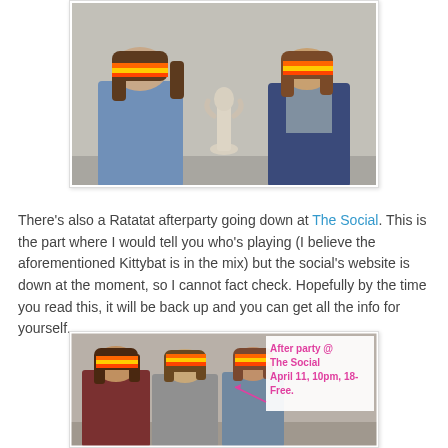[Figure (photo): Two men sitting side by side with a white cat sculpture between them. Both have rainbow-colored bars covering their eyes. One wears a blue denim shirt, the other a dark blue jacket.]
There's also a Ratatat afterparty going down at The Social. This is the part where I would tell you who's playing (I believe the aforementioned Kittybat is in the mix) but the social's website is down at the moment, so I cannot fact check. Hopefully by the time you read this, it will be back up and you can get all the info for yourself.
[Figure (photo): Three people sitting with rainbow blindfold bars over their eyes, with a pink text overlay reading: After party @ The Social April 11, 10pm, 18- Free.]